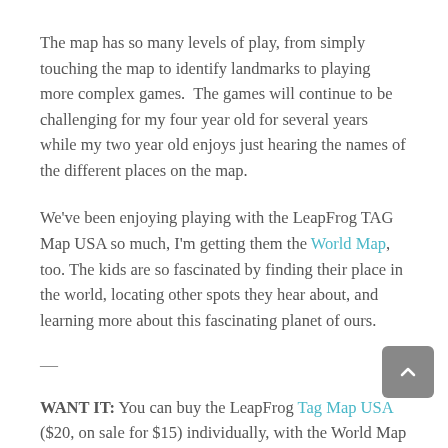The map has so many levels of play, from simply touching the map to identify landmarks to playing more complex games.  The games will continue to be challenging for my four year old for several years while my two year old enjoys just hearing the names of the different places on the map.
We've been enjoying playing with the LeapFrog TAG Map USA so much, I'm getting them the World Map, too. The kids are so fascinated by finding their place in the world, locating other spots they hear about, and learning more about this fascinating planet of ours.
—
WANT IT: You can buy the LeapFrog Tag Map USA ($20, on sale for $15) individually, with the World Map as a Map Pack ($10, on sale for $20), with the TAG Reader...